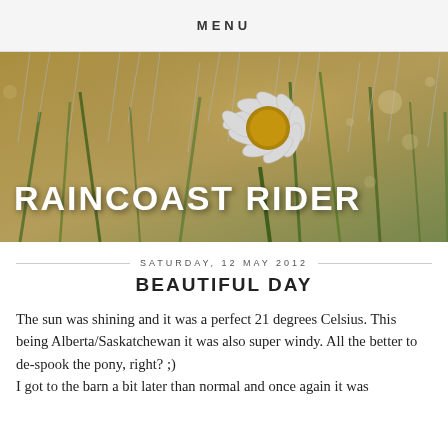MENU
[Figure (photo): Hero banner image showing a daisy flower in the rain with wet grass in the background, warm golden light. White bold text overlay reads RAINCOAST RIDER.]
SATURDAY, 12 MAY 2012
BEAUTIFUL DAY
The sun was shining and it was a perfect 21 degrees Celsius. This being Alberta/Saskatchewan it was also super windy. All the better to de-spook the pony, right? ;)
I got to the barn a bit later than normal and once again it was